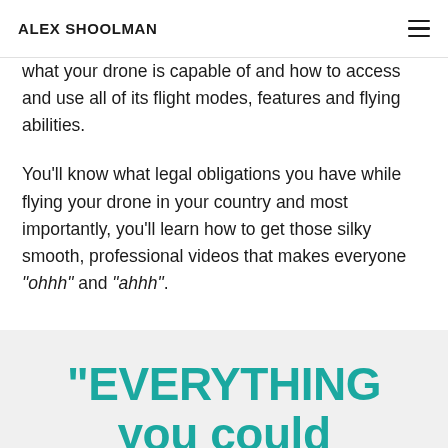ALEX SHOOLMAN
what your drone is capable of and how to access and use all of its flight modes, features and flying abilities.
You'll know what legal obligations you have while flying your drone in your country and most importantly, you'll learn how to get those silky smooth, professional videos that makes everyone "ohhh" and "ahhh".
"EVERYTHING you could